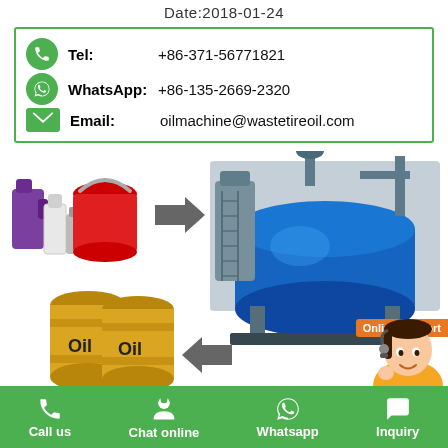Date:2018-01-24
| Tel: | +86-371-56771821 |
| WhatsApp: | +86-135-2669-2320 |
| Email: | oilmachine@wastetireoil.com |
[Figure (infographic): Oil recycling process diagram: oil containers on left, arrow pointing right to industrial pyrolysis machine (large blue cylindrical reactor), oil barrels on bottom left with arrow pointing left from machine, customer service representative on bottom right corner]
[Figure (infographic): Bottom green navigation bar with four items: phone icon 'Call us', headset icon 'Chat online', WhatsApp icon 'Whatsapp', speech bubble icon 'Inquiry']